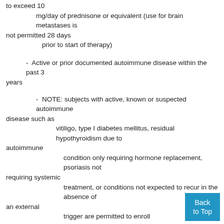to exceed 10 mg/day of prednisone or equivalent (use for brain metastases is not permitted 28 days prior to start of therapy)
- Active or prior documented autoimmune disease within the past 3 years
- NOTE: subjects with active, known or suspected autoimmune disease such as vitiligo, type I diabetes mellitus, residual hypothyroidism due to autoimmune condition only requiring hormone replacement, psoriasis not requiring systemic treatment, or conditions not expected to recur in the absence of an external trigger are permitted to enroll
- History of organ transplant that requires use of immunosuppressives
- Active or prior documented inflammatory bowel disease Crohn's disease,